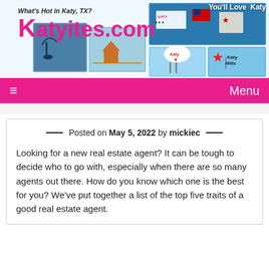[Figure (screenshot): Katyites.com website header banner with logo and Katy TX photos collage showing water tower, Katy Mills sign, and local landmarks]
Menu
Posted on May 5, 2022 by mickiec
Looking for a new real estate agent? It can be tough to decide who to go with, especially when there are so many agents out there. How do you know which one is the best for you? We've put together a list of the top five traits of a good real estate agent.